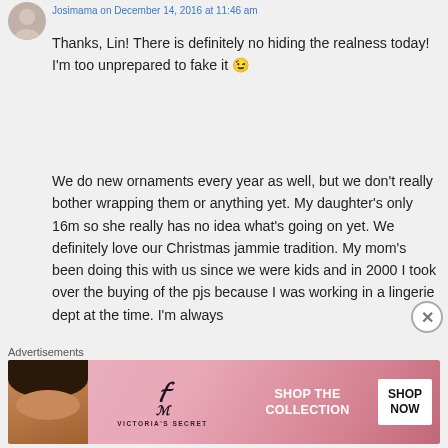Josimama on December 14, 2016 at 11:46 am
Thanks, Lin! There is definitely no hiding the realness today! I'm too unprepared to fake it 😉
We do new ornaments every year as well, but we don't really bother wrapping them or anything yet. My daughter's only 16m so she really has no idea what's going on yet. We definitely love our Christmas jammie tradition. My mom's been doing this with us since we were kids and in 2000 I took over the buying of the pjs because I was working in a lingerie dept at the time. I'm always
Advertisements
[Figure (photo): Victoria's Secret advertisement banner with model and 'SHOP THE COLLECTION / SHOP NOW' call to action]